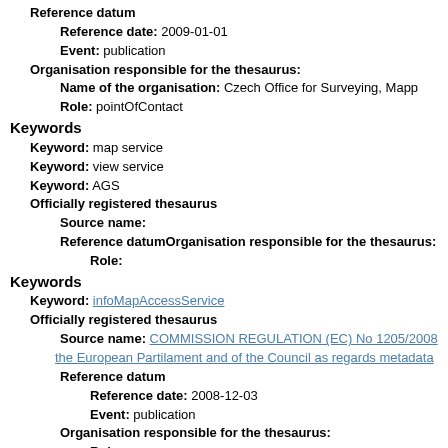Reference datum
Reference date: 2009-01-01
Event: publication
Organisation responsible for the thesaurus:
Name of the organisation: Czech Office for Surveying, Mapp
Role: pointOfContact
Keywords
Keyword: map service
Keyword: view service
Keyword: AGS
Officially registered thesaurus
Source name:
Reference datumOrganisation responsible for the thesaurus:
Role:
Keywords
Keyword: infoMapAccessService
Officially registered thesaurus
Source name: COMMISSION REGULATION (EC) No 1205/2008 the European Partilament and of the Council as regards metadata
Reference datum
Reference date: 2008-12-03
Event: publication
Organisation responsible for the thesaurus:
Role:
Source restriction